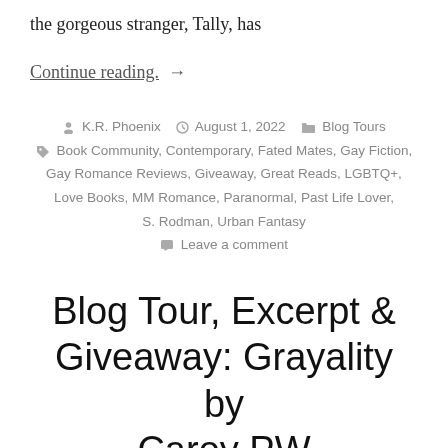the gorgeous stranger, Tally, has
Continue reading. →
K.R. Phoenix   August 1, 2022   Blog Tours
Book Community, Contemporary, Fated Mates, Gay Fiction,
Gay Romance Reviews, Giveaway, Great Reads, LGBTQ+,
Love Books, MM Romance, Paranormal, Past Life Lover,
S. Rodman, Urban Fantasy
Leave a comment
Blog Tour, Excerpt & Giveaway: Grayality by Carey PW